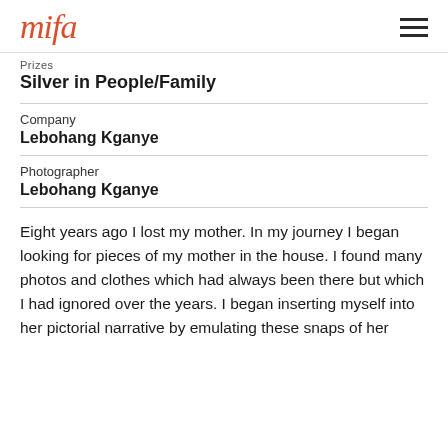mifa
Prizes
Silver in People/Family
Company
Lebohang Kganye
Photographer
Lebohang Kganye
Eight years ago I lost my mother. In my journey I began looking for pieces of my mother in the house. I found many photos and clothes which had always been there but which I had ignored over the years. I began inserting myself into her pictorial narrative by emulating these snaps of her